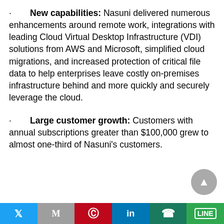New capabilities: Nasuni delivered numerous enhancements around remote work, integrations with leading Cloud Virtual Desktop Infrastructure (VDI) solutions from AWS and Microsoft, simplified cloud migrations, and increased protection of critical file data to help enterprises leave costly on-premises infrastructure behind and more quickly and securely leverage the cloud.
Large customer growth: Customers with annual subscriptions greater than $100,000 grew to almost one-third of Nasuni's customers.